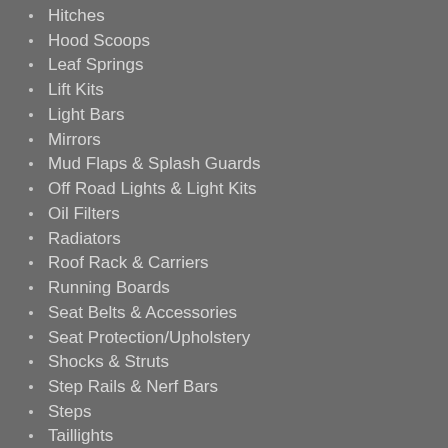Hitches
Hood Scoops
Leaf Springs
Lift Kits
Light Bars
Mirrors
Mud Flaps & Splash Guards
Off Road Lights & Light Kits
Oil Filters
Radiators
Roof Rack & Carriers
Running Boards
Seat Belts & Accessories
Seat Protection/Upholstery
Shocks & Struts
Step Rails & Nerf Bars
Steps
Taillights
Tires
Tonneau Covers & Bed Covers
Tow Bars
Weatherstripping
Wheel & Rim